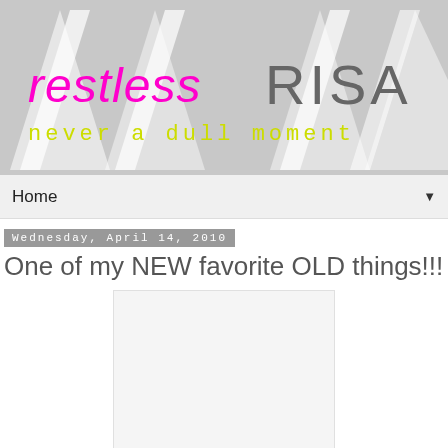[Figure (illustration): Blog header banner with gray background, white triangle/chevron geometric shapes, pink cursive 'restless' text, gray 'RISA' text, and yellow-green 'never a dull moment' subtitle in monospace font]
Home
Wednesday, April 14, 2010
One of my NEW favorite OLD things!!!
[Figure (photo): White/blank image or photograph placeholder within a light gray bordered box]